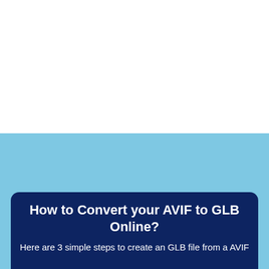[Figure (other): White background section at top of page]
[Figure (other): Light blue background section in middle of page]
How to Convert your AVIF to GLB Online?
Here are 3 simple steps to create an GLB file from a AVIF